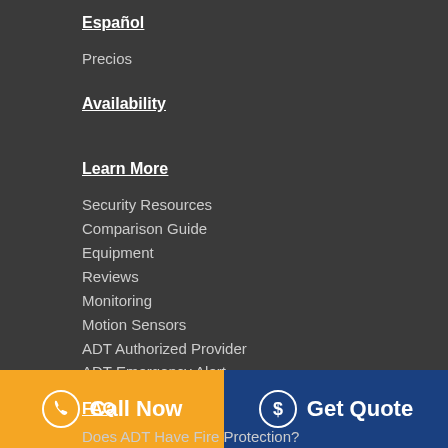Español
Precios
Availability
Learn More
Security Resources
Comparison Guide
Equipment
Reviews
Monitoring
Motion Sensors
ADT Authorized Provider
ADT Emergency Alert
FAQ
Does ADT Have Fire Protection?
[Figure (other): Bottom navigation bar with two buttons: 'Call Now' (orange background with phone icon) and 'Get Quote' (dark blue background with dollar icon)]